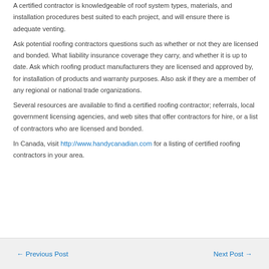A certified contractor is knowledgeable of roof system types, materials, and installation procedures best suited to each project, and will ensure there is adequate venting.
Ask potential roofing contractors questions such as whether or not they are licensed and bonded. What liability insurance coverage they carry, and whether it is up to date. Ask which roofing product manufacturers they are licensed and approved by, for installation of products and warranty purposes. Also ask if they are a member of any regional or national trade organizations.
Several resources are available to find a certified roofing contractor; referrals, local government licensing agencies, and web sites that offer contractors for hire, or a list of contractors who are licensed and bonded.
In Canada, visit http://www.handycanadian.com for a listing of certified roofing contractors in your area.
← Previous Post    Next Post →